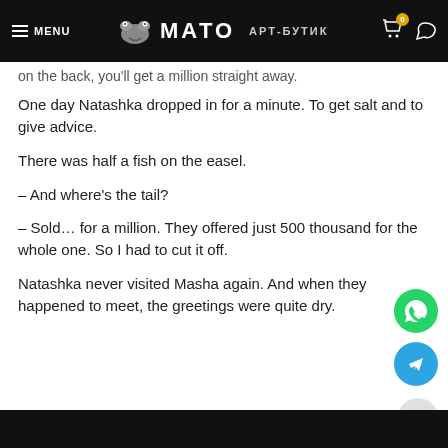MENU  МАТО  АРТ-БУТИК
on the back, you'll get a million straight away.
One day Natashka dropped in for a minute. To get salt and to give advice.
There was half a fish on the easel.
– And where's the tail?
– Sold… for a million. They offered just 500 thousand for the whole one. So I had to cut it off.
Natashka never visited Masha again. And when they happened to meet, the greetings were quite dry.